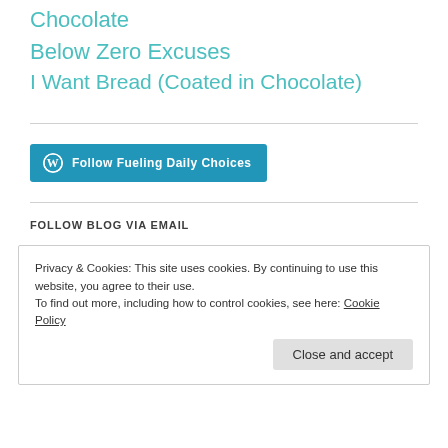Chocolate
Below Zero Excuses
I Want Bread (Coated in Chocolate)
[Figure (other): Follow Fueling Daily Choices button with WordPress icon]
FOLLOW BLOG VIA EMAIL
Privacy & Cookies: This site uses cookies. By continuing to use this website, you agree to their use. To find out more, including how to control cookies, see here: Cookie Policy